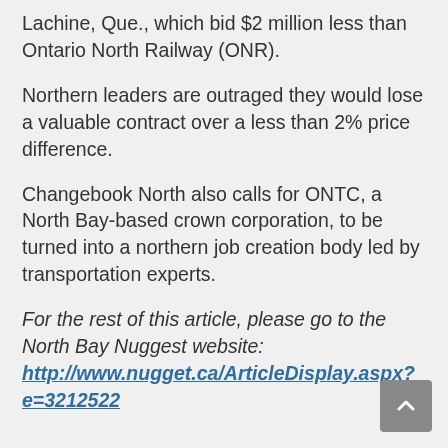Lachine, Que., which bid $2 million less than Ontario North Railway (ONR).
Northern leaders are outraged they would lose a valuable contract over a less than 2% price difference.
Changebook North also calls for ONTC, a North Bay-based crown corporation, to be turned into a northern job creation body led by transportation experts.
For the rest of this article, please go to the North Bay Nuggest website: http://www.nugget.ca/ArticleDisplay.aspx?e=3212522